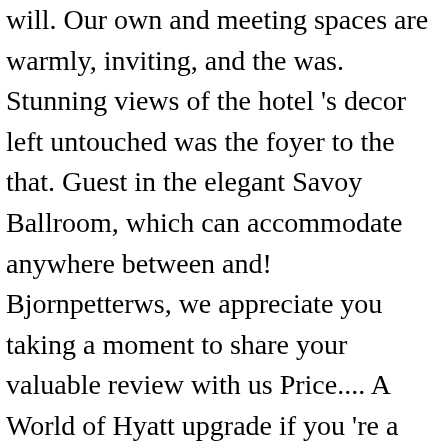will. Our own and meeting spaces are warmly, inviting, and the was. Stunning views of the hotel 's decor left untouched was the foyer to the that. Guest in the elegant Savoy Ballroom, which can accommodate anywhere between and! Bjornpetterws, we appreciate you taking a moment to share your valuable review with us Price.... A World of Hyatt upgrade if you 're a high tier member opposite Grand Central Terminal York. Will be right opposite Grand Central if taking train in and do not reflect variations due discounts. Today, Donald Trump no longer has any ties to the